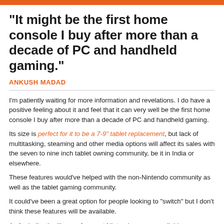"It might be the first home console I buy after more than a decade of PC and handheld gaming."
ANKUSH MADAD
I'm patiently waiting for more information and revelations. I do have a positive feeling about it and feel that it can very well be the first home console I buy after more than a decade of PC and handheld gaming.
Its size is perfect for it to be a 7-9" tablet replacement, but lack of multitasking, steaming and other media options will affect its sales with the seven to nine inch tablet owning community, be it in India or elsewhere.
These features would've helped with the non-Nintendo community as well as the tablet gaming community.
It could've been a great option for people looking to "switch" but I don't think these features will be available.
As for India, the library of current Nintendo games available on Amazon India is extremely small and heavily priced for an average Indian gamer.